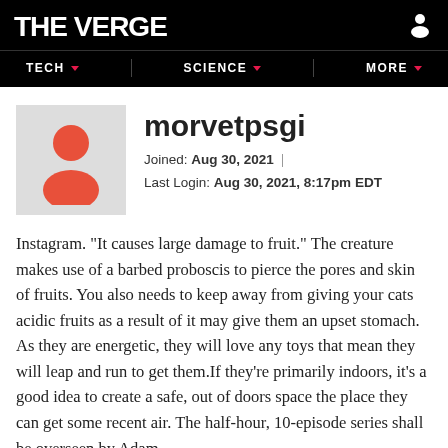THE VERGE
morvetpsgi
Joined: Aug 30, 2021  Last Login: Aug 30, 2021, 8:17pm EDT
Instagram. "It causes large damage to fruit." The creature makes use of a barbed proboscis to pierce the pores and skin of fruits. You also needs to keep away from giving your cats acidic fruits as a result of it may give them an upset stomach. As they are energetic, they will love any toys that mean they will leap and run to get them.If they're primarily indoors, it's a good idea to create a safe, out of doors space the place they can get some recent air. The half-hour, 10-episode series shall be overseen by Adam